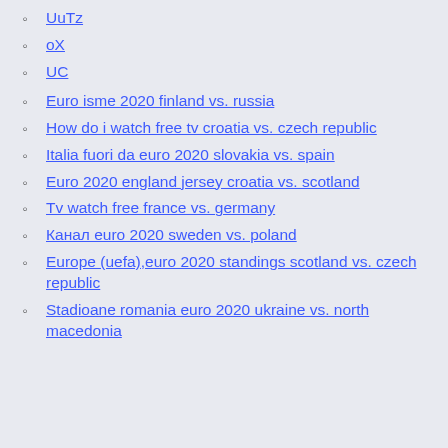UuTz
oX
UC
Euro isme 2020 finland vs. russia
How do i watch free tv croatia vs. czech republic
Italia fuori da euro 2020 slovakia vs. spain
Euro 2020 england jersey croatia vs. scotland
Tv watch free france vs. germany
Канал euro 2020 sweden vs. poland
Europe (uefa),euro 2020 standings scotland vs. czech republic
Stadioane romania euro 2020 ukraine vs. north macedonia